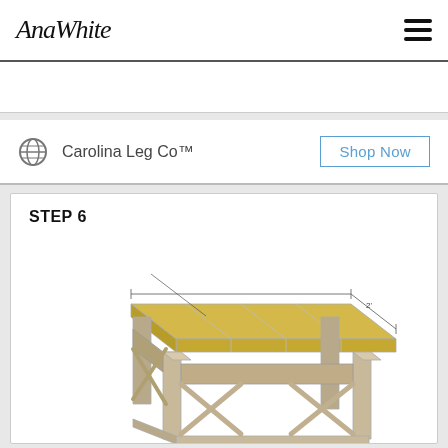AnaWhite
CLC10 – 10% Off.
Carolina Leg Co™
Shop Now
STEP 6
[Figure (engineering-diagram): 3D isometric illustration of a farmhouse-style end table showing the top planks assembled, with dimension lines and annotation: 'Build top first with 1 1/2" PHx and 2 1/2" PH screws and then attach from underside aprons with 2 1/2" screws.' The table has X-cross bracing on the sides and bottom shelf. A dimension line marks the width as 2'.]